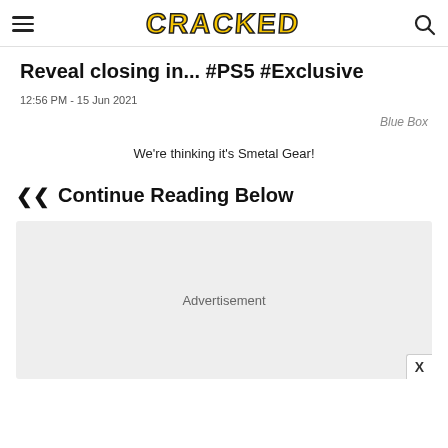CRACKED
Reveal closing in... #PS5 #Exclusive
12:56 PM - 15 Jun 2021
Blue Box
We're thinking it's Smetal Gear!
Continue Reading Below
[Figure (other): Advertisement placeholder block with close button]